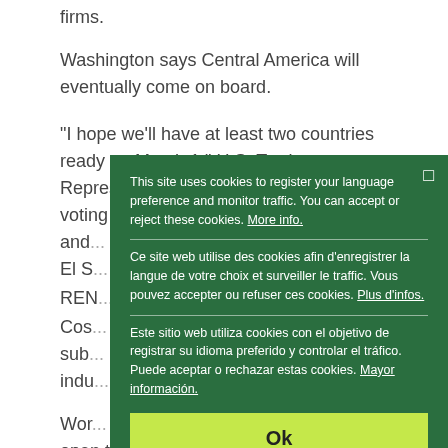firms.
Washington says Central America will eventually come on board.
"I hope we'll have at least two countries ready on March 1," U.S. Trade Representative Rob Portman (news, bio, voting reco... and... El S...
REN...
Cos... gen... Rica... sub... indu...
Wor... open the state telecoms and electricity monopoly to
[Figure (other): Cookie consent modal overlay with green background. Contains three language notices (English, French, Spanish) about cookie usage, separated by horizontal dividers, and an 'Ok' button in yellow-green.]